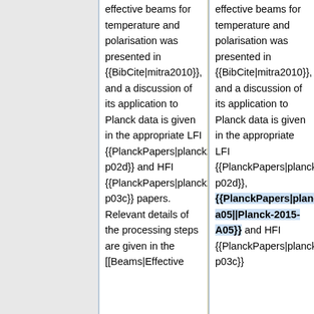involving the effective beams for temperature and polarisation was presented in {{BibCite|mitra2010}}, and a discussion of its application to Planck data is given in the appropriate LFI {{PlanckPapers|planck2013-p02d}} and HFI {{PlanckPapers|planck2013-p03c}} papers. Relevant details of the processing steps are given in the [[Beams|Effective
involving the effective beams for temperature and polarisation was presented in {{BibCite|mitra2010}}, and a discussion of its application to Planck data is given in the appropriate LFI {{PlanckPapers|planck2013-p02d}}, {{PlanckPapers|planck2014-a05||Planck-2015-A05}} and HFI {{PlanckPapers|planck2013-p03c}}